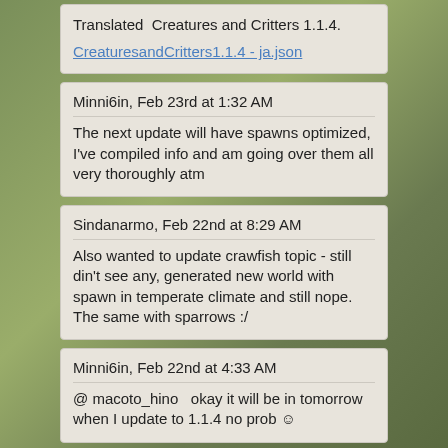Translated  Creatures and Critters 1.1.4.
CreaturesandCritters1.1.4 - ja.json
Minni6in, Feb 23rd at 1:32 AM
The next update will have spawns optimized, I've compiled info and am going over them all very thoroughly atm
Sindanarmo, Feb 22nd at 8:29 AM
Also wanted to update crawfish topic - still din't see any, generated new world with spawn in temperate climate and still nope. The same with sparrows :/
Minni6in, Feb 22nd at 4:33 AM
@ macoto_hino   okay it will be in tomorrow when I update to 1.1.4 no prob ☺
macoto_hino, Feb 22nd at 4:11 AM
Translated  Creatures and Critters 1.1.3.